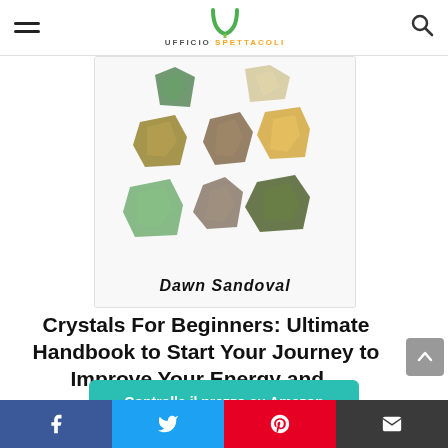Ufficio Spettacoli
[Figure (photo): Book cover showing various raw crystals and gemstones on a white background, with the author name Dawn Sandoval in handwritten style text at the bottom]
Crystals For Beginners: Ultimate Handbook to Start Your Journey to Improve Your Energy and...
Controlla il prezzo su Amazon
Amazon.it
Facebook | Twitter | Pinterest | Email